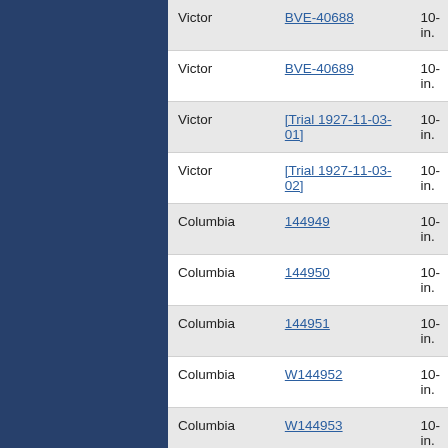| Label | ID | Size |
| --- | --- | --- |
| Victor | BVE-40688 | 10-in. |
| Victor | BVE-40689 | 10-in. |
| Victor | [Trial 1927-11-03-01] | 10-in. |
| Victor | [Trial 1927-11-03-02] | 10-in. |
| Columbia | 144949 | 10-in. |
| Columbia | 144950 | 10-in. |
| Columbia | 144951 | 10-in. |
| Columbia | W144952 | 10-in. |
| Columbia | W144953 | 10-in. |
| Columbia | W145084 | 10-in. |